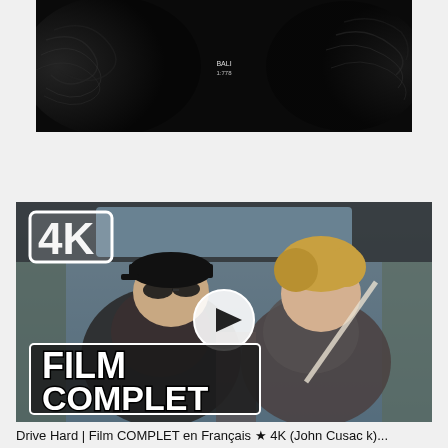[Figure (screenshot): Dark video player thumbnail with abstract wave/ripple pattern on black background. Small white text visible in center reading what appears to be a timestamp or title.]
[Figure (screenshot): Movie thumbnail showing two men inside a car. Left man wears sunglasses and a black cap. Right man has blonde/light hair. A 4K badge is in the top-left corner. A circular play button is centered. 'FILM COMPLET' text overlaid in large white bold letters with black outline on bottom-left. Color photo with motion blur background suggesting driving.]
Drive Hard | Film COMPLET en Français ★ 4K (John Cusac k)...